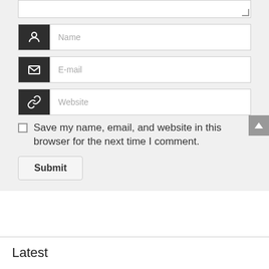[Figure (screenshot): Web form with textarea (partially visible), Name input field with person icon, E-mail input field with envelope icon, Website input field with link icon, a checkbox with label 'Save my name, email, and website in this browser for the next time I comment.', and a Submit button. A gray scroll-to-top arrow button is visible on the right edge.]
Latest